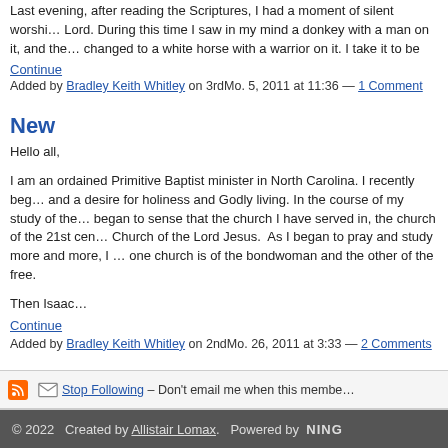Last evening, after reading the Scriptures, I had a moment of silent worship with the Lord. During this time I saw in my mind a donkey with a man on it, and then it changed to a white horse with a warrior on it. I take it to be Christ. Christ ca…
Continue
Added by Bradley Keith Whitley on 3rdMo. 5, 2011 at 11:36 — 1 Comment
New
Hello all,
I am an ordained Primitive Baptist minister in North Carolina. I recently beg… and a desire for holiness and Godly living. In the course of my study of the… began to sense that the church I have served in, the church of the 21st ce… Church of the Lord Jesus. As I began to pray and study more and more, I … one church is of the bondwoman and the other of the free.
Then Isaac…
Continue
Added by Bradley Keith Whitley on 2ndMo. 26, 2011 at 3:33 — 2 Comments
Stop Following – Don't email me when this membe…
© 2022   Created by Allistair Lomax.   Powered by NING